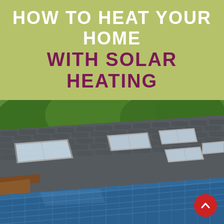HOW TO HEAT YOUR HOME WITH SOLAR HEATING
[Figure (photo): Photo of a house roof with solar panels installed in the foreground and skylights on the tiled roof section. Green trees visible in the background.]